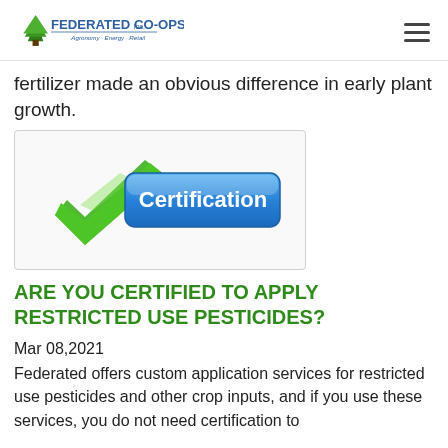FEDERATED CO-OPS Inc. · Agronomy · Energy · Retail
fertilizer made an obvious difference in early plant growth.
[Figure (illustration): Green checkmark with blue rounded rectangle button labeled 'Certification']
ARE YOU CERTIFIED TO APPLY RESTRICTED USE PESTICIDES?
Mar 08,2021
Federated offers custom application services for restricted use pesticides and other crop inputs, and if you use these services, you do not need certification to